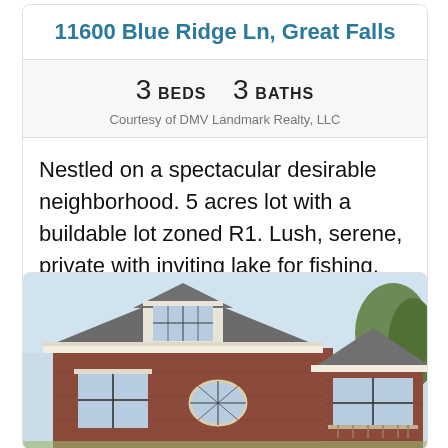11600 Blue Ridge Ln, Great Falls
3 BEDS    3 BATHS
Courtesy of DMV Landmark Realty, LLC
Nestled on a spectacular desirable neighborhood. 5 acres lot with a buildable lot zoned R1. Lush, serene, private with inviting lake for fishing, boating, outdoor activit...
[Figure (photo): Exterior photo of a brick colonial-style house with dormer window, slate roof, white trim, and trees visible on the right side.]